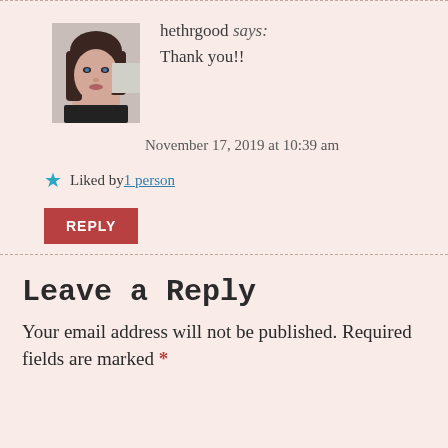[Figure (photo): Avatar photo of a woman with dark hair wearing a black top]
hethrgood says: Thank you!!
November 17, 2019 at 10:39 am
★ Liked by 1 person
REPLY
Leave a Reply
Your email address will not be published. Required fields are marked *